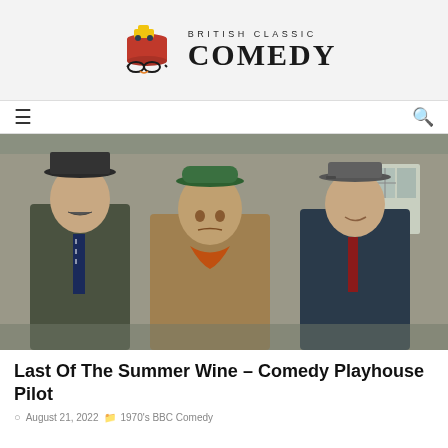British Classic Comedy
[Figure (photo): Three older men standing outdoors in front of a stone building. Left man wears a dark hat and tweed coat with a striped tie. Centre man wears a green cap and brown tweed jacket with an orange neckerchief. Right man wears a flat cap and dark gilet with a red tie. Scene evocative of a Yorkshire village setting.]
Last Of The Summer Wine – Comedy Playhouse Pilot
August 21, 2022  1970's BBC Comedy